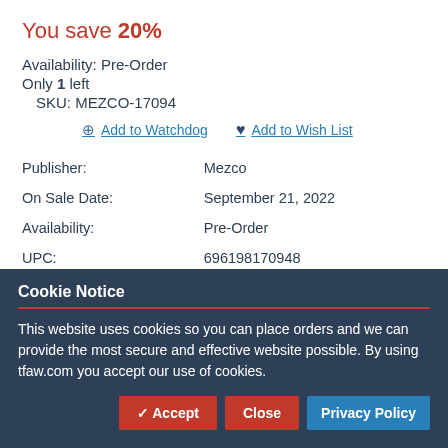You save 20%
Availability: Pre-Order
Only 1 left
SKU: MEZCO-17094
Add to Watchdog  Add to Wish List
| Publisher: | Mezco |
| On Sale Date: | September 21, 2022 |
| Availability: | Pre-Order |
| UPC: | 696198170948 |
| Interests: | Godzilla |
Cookie Notice
This website uses cookies so you can place orders and we can provide the most secure and effective website possible. By using tfaw.com you accept our use of cookies.